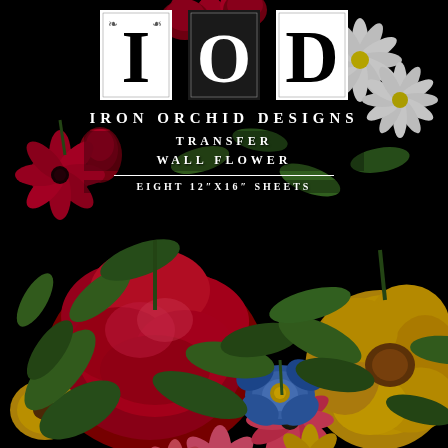[Figure (illustration): Dark black background covered with large colorful painted floral arrangement including large red/crimson peonies and roses, yellow hibiscus flowers, pink daisy-like blooms, blue morning glory, white daisies, and lush green leaves throughout]
IOD
IRON ORCHID DESIGNS
TRANSFER
WALL FLOWER
EIGHT 12"X16" SHEETS